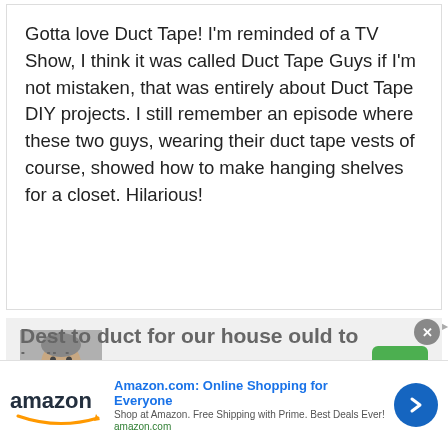Gotta love Duct Tape! I'm reminded of a TV Show, I think it was called Duct Tape Guys if I'm not mistaken, that was entirely about Duct Tape DIY projects. I still remember an episode where these two guys, wearing their duct tape vests of course, showed how to make hanging shelves for a closet. Hilarious!
RD Blakeslee says
[Figure (photo): Avatar/profile photo of RD Blakeslee, an older man with a white beard]
26
Amazon.com: Online Shopping for Everyone
Shop at Amazon. Free Shipping with Prime. Best Deals Ever!
amazon.com